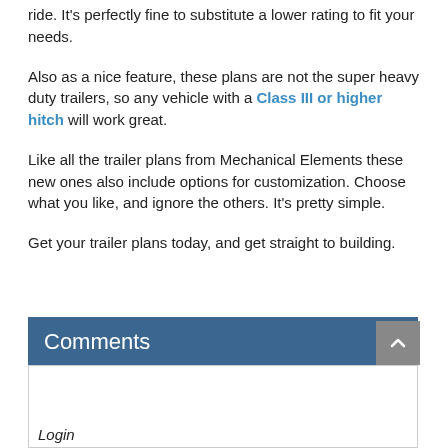ride.  It's perfectly fine to substitute a lower rating to fit your needs.
Also as a nice feature, these plans are not the super heavy duty trailers, so any vehicle with a Class III or higher hitch will work great.
Like all the trailer plans from Mechanical Elements these new ones also include options for customization.  Choose what you like, and ignore the others.  It's pretty simple.
Get your trailer plans today, and get straight to building.
Comments
Login